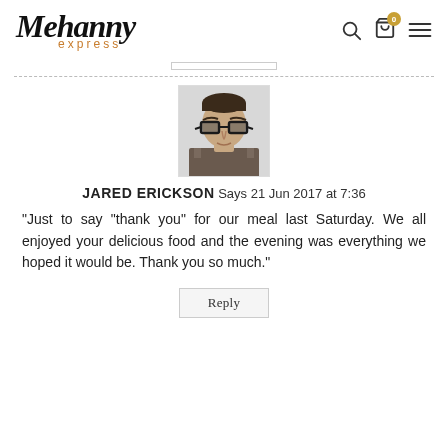Mehanny express
[Figure (photo): Black and white headshot photo of Jared Erickson, a man wearing thick-framed glasses, looking directly at camera, wearing a patterned shirt]
JARED ERICKSON  Says 21 Jun 2017 at 7:36
“Just to say “thank you” for our meal last Saturday. We all enjoyed your delicious food and the evening was everything we hoped it would be. Thank you so much.”
Reply